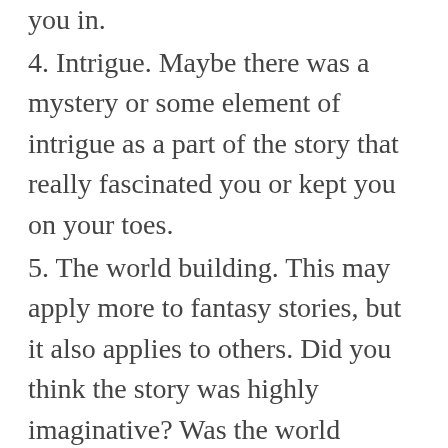you in.
4. Intrigue. Maybe there was a mystery or some element of intrigue as a part of the story that really fascinated you or kept you on your toes.
5. The world building. This may apply more to fantasy stories, but it also applies to others. Did you think the story was highly imaginative? Was the world cohesive and make sense? Would you mind spending some time there yourself? Did it draw you in and surround you so that you too wanted to know what burbleberries tasted like?